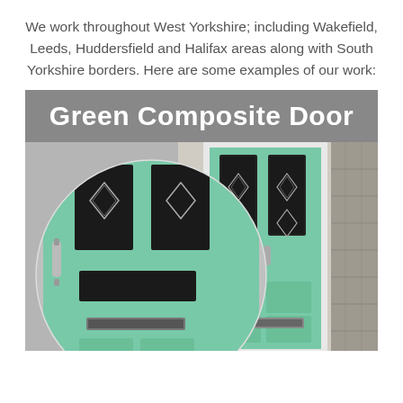We work throughout West Yorkshire; including Wakefield, Leeds, Huddersfield and Halifax areas along with South Yorkshire borders. Here are some examples of our work:
[Figure (photo): Green composite door product showcase. A gray banner header reads 'Green Composite Door' in white bold text. Below is a photo showing a mint/sage green composite front door with decorative diamond-pattern leaded glass panels, with a circular close-up inset on the left showing door detail including handle and letterbox.]